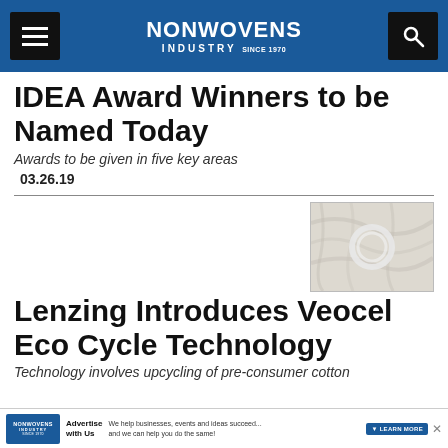NONWOVENS INDUSTRY
IDEA Award Winners to be Named Today
Awards to be given in five key areas
03.26.19
[Figure (photo): Close-up photo of white fibrous nonwoven material with a circular ring]
Lenzing Introduces Veocel Eco Cycle Technology
Technology involves upcycling of pre-consumer cotton
NONWOVENS INDUSTRY — Advertise with Us — We help businesses, events and ideas succeed... and we can help you do the same! — LEARN MORE